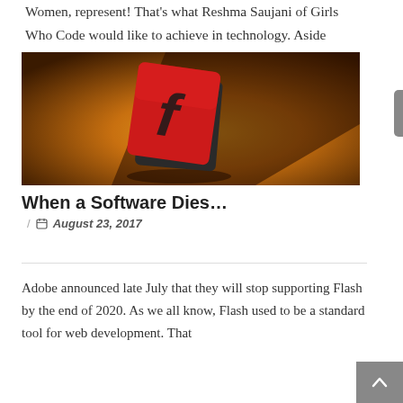Women, represent! That's what Reshma Saujani of Girls Who Code would like to achieve in technology. Aside from GWC, there's also She++. Both are female-dominated organizations that teach high school...
[Figure (photo): Adobe Flash logo icon — a red square with a stylized 'f' letter on an orange-brown gradient background]
When a Software Dies…
/ 📅 August 23, 2017
Adobe announced late July that they will stop supporting Flash by the end of 2020. As we all know, Flash used to be a standard tool for web development. That